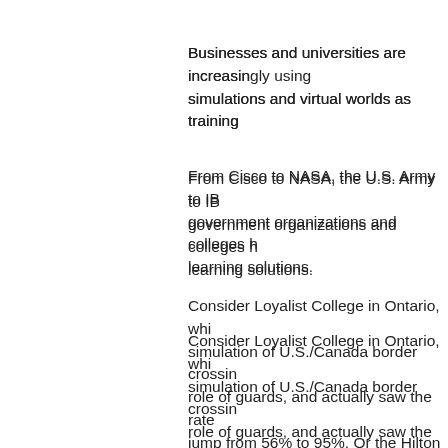Businesses and universities are increasingly using simulations and virtual worlds as training
From Cisco to NASA, the U.S. Army to IBM, government organizations and colleges have turned to virtual learning solutions.
Consider Loyalist College in Ontario, which built a simulation of U.S./Canada border crossing. Students took on the role of guards, and actually saw the rate of successful catches jump from 56% to 95%. Or the Hilton Garden Inn, which built a custom 3-D hospitality training game for their staff, reasoning that it's more informative and motivating to learn and experiment by interacting with virtual customers.
Contextual learning
Video games may soon save lives as we
According to Dr. Jeffrey Taekman, the director of Human Simulation and Patient Safety Center, virtual environments are the future of edu